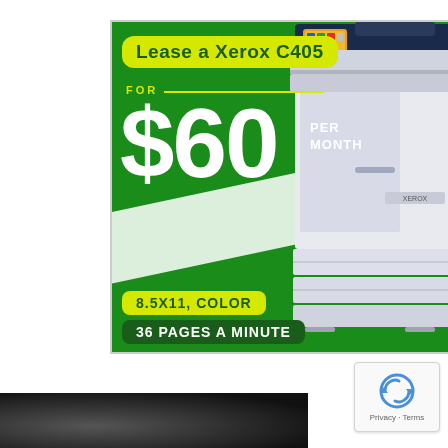[Figure (infographic): Advertisement for Xerox C405 printer lease. Green background with yellow badge 'Lease a Xerox C405', large white price '$60 PER MONTH', yellow badge '8.5X11, COLOR', green badge '36 PAGES A MINUTE', and image of a Xerox C405 multifunction color printer on the right side.]
[Figure (photo): Bottom strip showing a dark/blurred photo, partially visible.]
[Figure (logo): reCAPTCHA icon with arrows, labeled 'Privacy - Terms']